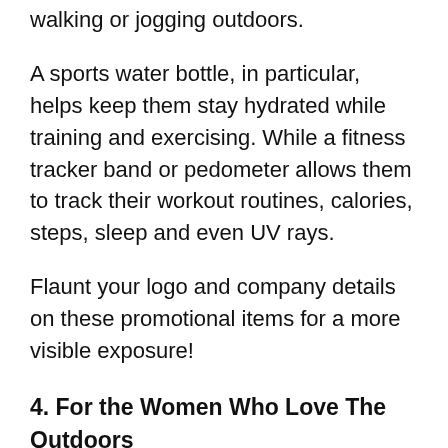walking or jogging outdoors.
A sports water bottle, in particular, helps keep them stay hydrated while training and exercising. While a fitness tracker band or pedometer allows them to track their workout routines, calories, steps, sleep and even UV rays.
Flaunt your logo and company details on these promotional items for a more visible exposure!
4. For the Women Who Love The Outdoors
Of course, we wouldn't forget those adventurous and thrill-seeking clients or staff of yours. As a matter of fact, there are a lot of gift options for this audience type.